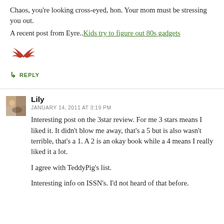Chaos, you're looking cross-eyed, hon. Your mom must be stressing you out.
A recent post from Eyre.. Kids try to figure out 80s gadgets
[Figure (illustration): Small red decorative bird/wings icon]
↳ REPLY
Lily
JANUARY 14, 2011 AT 3:19 PM
Interesting post on the 3star review. For me 3 stars means I liked it. It didn't blow me away, that's a 5 but is also wasn't terrible, that's a 1. A 2 is an okay book while a 4 means I really liked it a lot.

I agree with TeddyPig's list.

Interesting info on ISSN's. I'd not heard of that before.